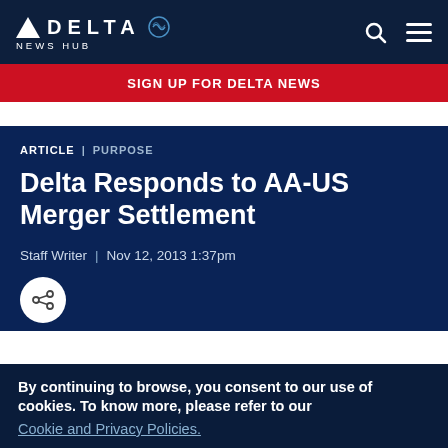DELTA NEWS HUB
SIGN UP FOR DELTA NEWS
ARTICLE | PURPOSE
Delta Responds to AA-US Merger Settlement
Staff Writer | Nov 12, 2013 1:37pm
By continuing to browse, you consent to our use of cookies. To know more, please refer to our Cookie and Privacy Policies.